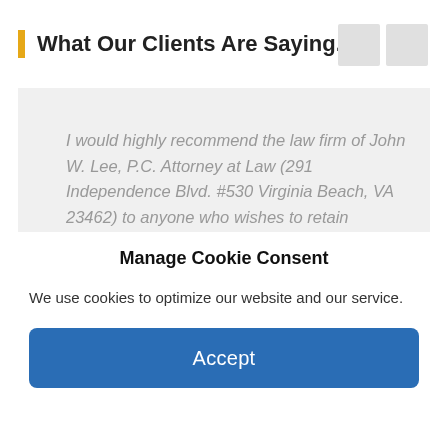What Our Clients Are Saying...
I would highly recommend the law firm of John W. Lee, P.C. Attorney at Law (291 Independence Blvd. #530 Virginia Beach, VA 23462) to anyone who wishes to retain professional and qualified lawyers. I am very grateful to Attorney Daniel I. Miller who represented me in my "Hit and
Manage Cookie Consent
We use cookies to optimize our website and our service.
Accept